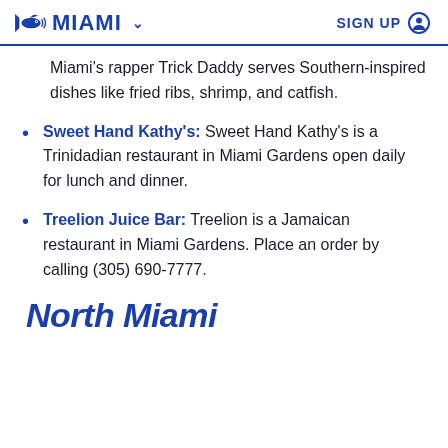MIAMI  SIGN UP
Miami's rapper Trick Daddy serves Southern-inspired dishes like fried ribs, shrimp, and catfish.
Sweet Hand Kathy's: Sweet Hand Kathy's is a Trinidadian restaurant in Miami Gardens open daily for lunch and dinner.
Treelion Juice Bar: Treelion is a Jamaican restaurant in Miami Gardens. Place an order by calling (305) 690-7777.
North Miami